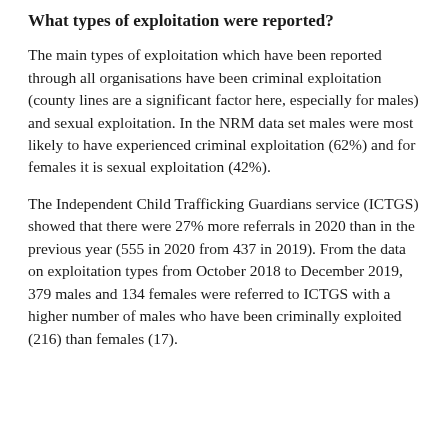What types of exploitation were reported?
The main types of exploitation which have been reported through all organisations have been criminal exploitation (county lines are a significant factor here, especially for males) and sexual exploitation. In the NRM data set males were most likely to have experienced criminal exploitation (62%) and for females it is sexual exploitation (42%).
The Independent Child Trafficking Guardians service (ICTGS) showed that there were 27% more referrals in 2020 than in the previous year (555 in 2020 from 437 in 2019). From the data on exploitation types from October 2018 to December 2019, 379 males and 134 females were referred to ICTGS with a higher number of males who have been criminally exploited (216) than females (17).